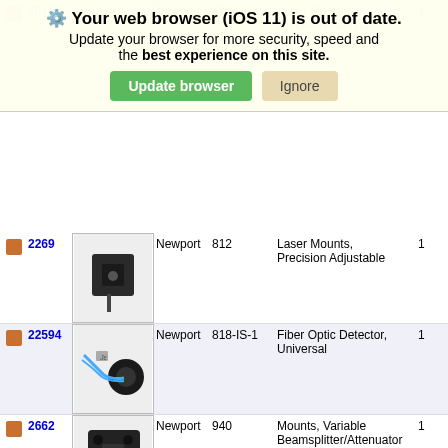[Figure (screenshot): Browser out-of-date warning overlay with 'Update browser' and 'Ignore' buttons]
|  | ID | Image | Brand | Model | Description | Qty |
| --- | --- | --- | --- | --- | --- | --- |
|  | 4019 |  | Newport | 811 | Laser Mounts, Precision Adjustable | 1 |
|  | 2269 |  | Newport | 812 | Laser Mounts, Precision Adjustable | 1 |
|  | 22594 |  | Newport | 818-IS-1 | Fiber Optic Detector, Universal | 1 |
|  | 2662 |  | Newport | 940 | Mounts, Variable Beamsplitter/Attenuator | 1 |
|  | 109 |  | Newport | A43 | Mount, Kinematic Optical | 1 |
|  | 102 |  | Newport | AC-2 | Chuck, Adjustable Radius | 3 |
|  | 122666 |  | Newport | ALM-4 | Mount, Lens Adjustable | 2 |